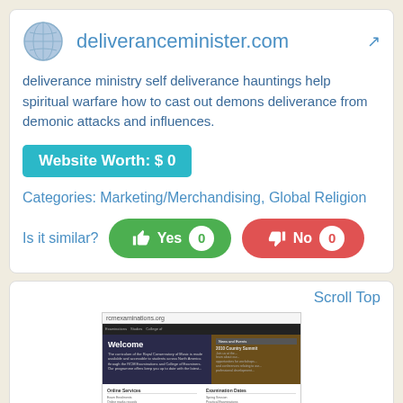deliveranceminister.com
deliverance ministry self deliverance hauntings help spiritual warfare how to cast out demons deliverance from demonic attacks and influences.
Website Worth: $ 0
Categories: Marketing/Merchandising, Global Religion
Is it similar? Yes 0  No 0
Scroll Top
[Figure (screenshot): Screenshot of rcmexaminations.org website showing a Welcome section with dark navy hero image and news/events sidebar, plus Online Services and Examination Dates columns below.]